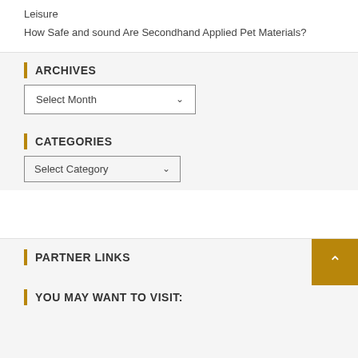Leisure
How Safe and sound Are Secondhand Applied Pet Materials?
ARCHIVES
Select Month
CATEGORIES
Select Category
PARTNER LINKS
YOU MAY WANT TO VISIT: